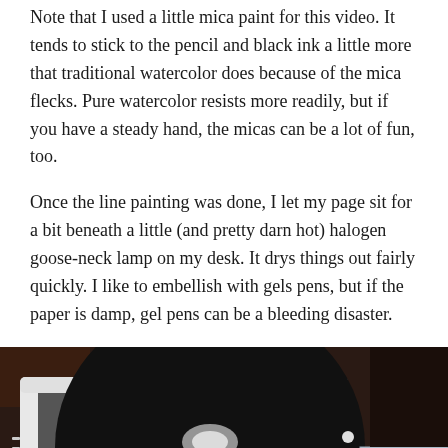Note that I used a little mica paint for this video. It tends to stick to the pencil and black ink a little more that traditional watercolor does because of the mica flecks. Pure watercolor resists more readily, but if you have a steady hand, the micas can be a lot of fun, too.
Once the line painting was done, I let my page sit for a bit beneath a little (and pretty darn hot) halogen goose-neck lamp on my desk. It drys things out fairly quickly. I like to embellish with gels pens, but if the paper is damp, gel pens can be a bleeding disaster.
[Figure (photo): Photo of a black halogen goose-neck lamp head on a white tablet/device stand on a desk, with a gray surface and a small corner of a blue/white page visible at the right.]